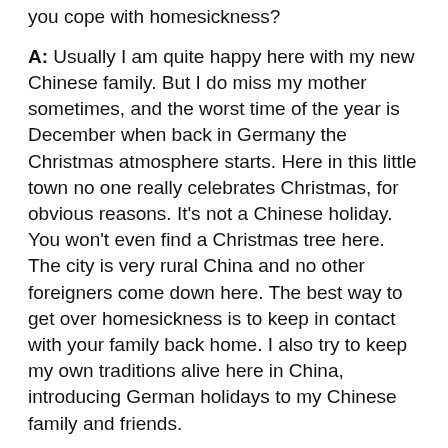you cope with homesickness?
A: Usually I am quite happy here with my new Chinese family. But I do miss my mother sometimes, and the worst time of the year is December when back in Germany the Christmas atmosphere starts. Here in this little town no one really celebrates Christmas, for obvious reasons. It's not a Chinese holiday. You won't even find a Christmas tree here. The city is very rural China and no other foreigners come down here. The best way to get over homesickness is to keep in contact with your family back home. I also try to keep my own traditions alive here in China, introducing German holidays to my Chinese family and friends.
Q: What do you think about the locals?
A: As with any country there are good and bad people. The